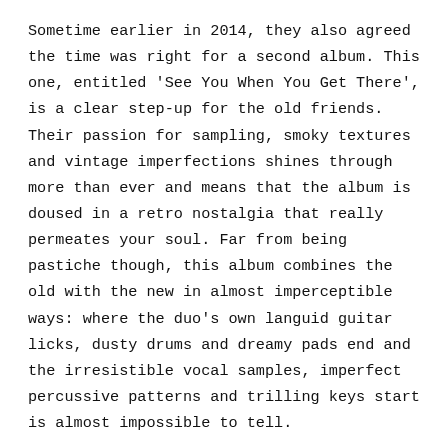Sometime earlier in 2014, they also agreed the time was right for a second album. This one, entitled 'See You When You Get There', is a clear step-up for the old friends. Their passion for sampling, smoky textures and vintage imperfections shines through more than ever and means that the album is doused in a retro nostalgia that really permeates your soul. Far from being pastiche though, this album combines the old with the new in almost imperceptible ways: where the duo's own languid guitar licks, dusty drums and dreamy pads end and the irresistible vocal samples, imperfect percussive patterns and trilling keys start is almost impossible to tell.
Part of the reason for that is the fact the album was made in sessions split between their own Hamburg-based studio and the fully-kitted out Room G studio in San Francisco: quite a step up from the bedroom set-up that birthed their debut, that's for sure. This trans-Atlantic hook-up first came about when mutual friends put Session Victim in touch with the owner of the studio. "We had a coffee and he